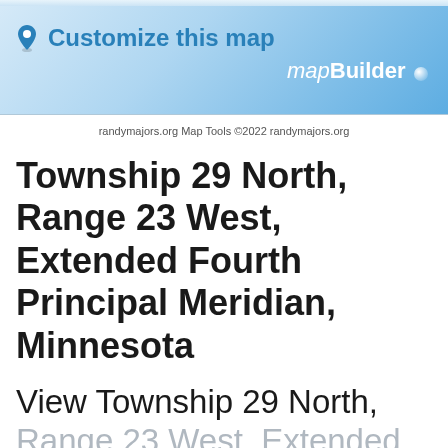[Figure (screenshot): mapBuilder banner with location pin icon and 'Customize this map' text in blue, and 'mapBuilder' branding with a blue gradient background]
randymajors.org Map Tools ©2022 randymajors.org
Township 29 North, Range 23 West, Extended Fourth Principal Meridian, Minnesota
View Township 29 North, Range 23 West, Extended Fourth Principal Meridian,